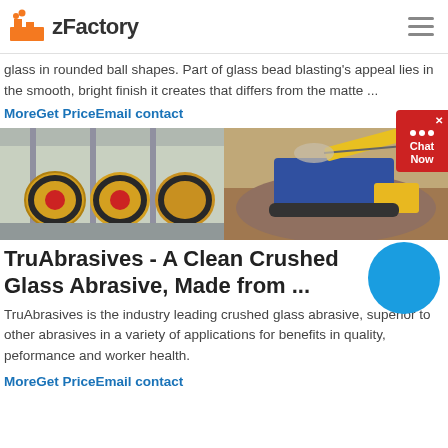zFactory
glass in rounded ball shapes. Part of glass bead blasting's appeal lies in the smooth, bright finish it creates that differs from the matte ...
MoreGet PriceEmail contact
[Figure (photo): Two industrial photos side by side: left shows large yellow cylindrical ball mills in a factory; right shows blue mobile crushing equipment operating at a gravel/rock site.]
TruAbrasives - A Clean Crushed Glass Abrasive, Made from ...
TruAbrasives is the industry leading crushed glass abrasive, superior to other abrasives in a variety of applications for benefits in quality, peformance and worker health.
MoreGet PriceEmail contact